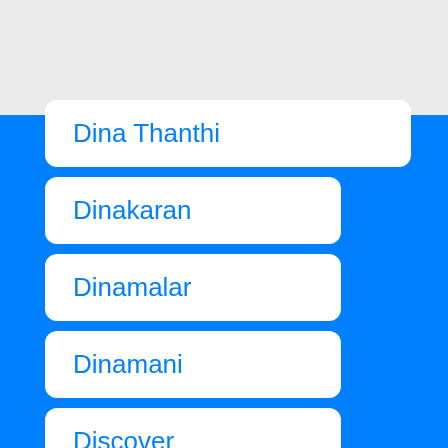Dina Thanthi
Dinakaran
Dinamalar
Dinamani
Discover
Discovery
Divya Bhaskar
Divya Himachal